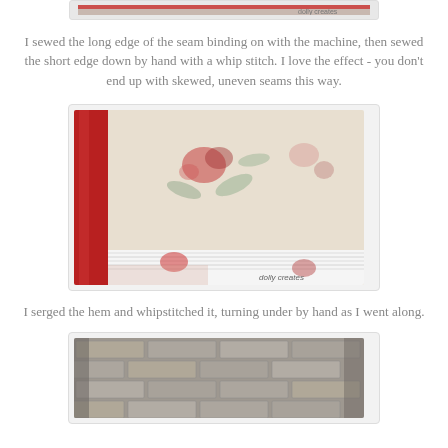[Figure (photo): Top cropped photo showing fabric with red seam binding at top, partially visible]
I sewed the long edge of the seam binding on with the machine, then sewed the short edge down by hand with a whip stitch. I love the effect - you don't end up with skewed, uneven seams this way.
[Figure (photo): Close-up photo of a hand holding fabric with floral pattern showing red seam binding at the corner edge, with white serged hem along the bottom. Watermark reads 'dolly creates'.]
I serged the hem and whipstitched it, turning under by hand as I went along.
[Figure (photo): Photo of a grey brick or tile wall texture, partially visible at bottom of page.]